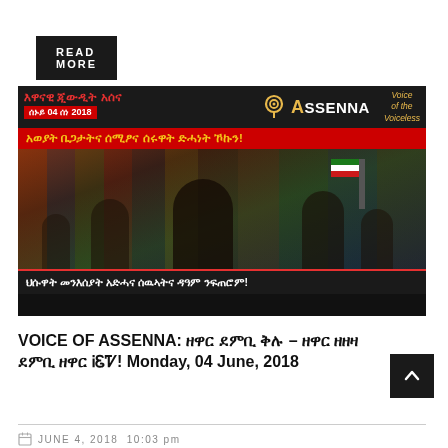READ MORE
[Figure (photo): Assenna Voice of the Voiceless banner with Tigrinya text, crowd protest photo, date June 04 2018]
VOICE OF ASSENNA: ዘዋር ደምቢ ፅል – ዘዋር የዘባ ደምቢ ዘዋር Ꭵብቅ! Monday, 04 June, 2018
JUNE 4, 2018  10:03 pm